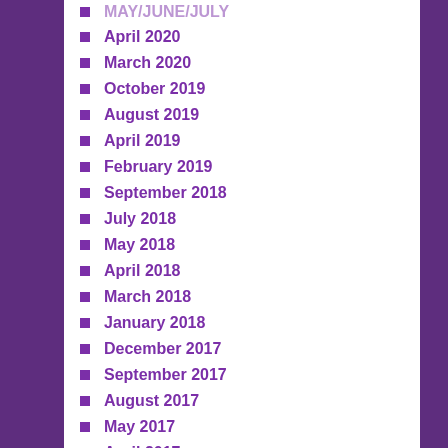April 2020
March 2020
October 2019
August 2019
April 2019
February 2019
September 2018
July 2018
May 2018
April 2018
March 2018
January 2018
December 2017
September 2017
August 2017
May 2017
April 2017
March 2017
February 2017
January 2017
December 2016